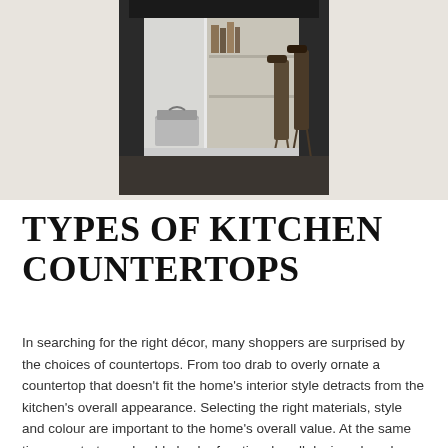[Figure (photo): Photograph of a kitchen island with dark countertop, white cabinets with shelving containing books/items, a metal trash can, and bar stools visible in the background. Image shown against a light beige/grey background.]
TYPES OF KITCHEN COUNTERTOPS
In searching for the right décor, many shoppers are surprised by the choices of countertops. From too drab to overly ornate a countertop that doesn't fit the home's interior style detracts from the kitchen's overall appearance. Selecting the right materials, style and colour are important to the home's overall value. At the same time countertops should also be functional, well designed, and resistance to damage from normal use.